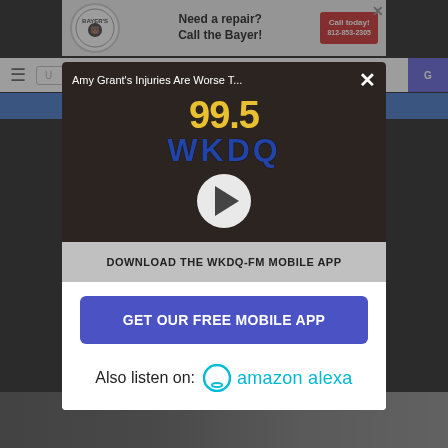[Figure (screenshot): Mobile app popup modal on WKDQ-FM radio website. Top shows advertisement banner for Bayer's Plumbing with text 'Need a repair? Call the Bayer!' and a red 'Call today!' button. A modal dialog overlays the page showing: the article title 'Amy Grant's Injuries Are Worse T...', the 99.5 WKDQ radio station logo on dark background with a play button, a gray bar reading 'DOWNLOAD THE WKDQ-FM MOBILE APP', a blue 'GET OUR FREE MOBILE APP' button, and 'Also listen on: [Alexa icon] amazon alexa'.]